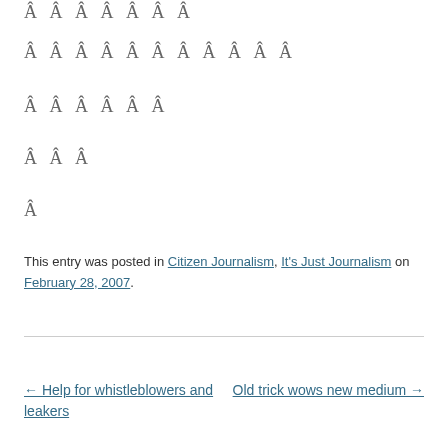Â Â Â Â Â Â Â
Â Â Â Â Â Â Â Â Â Â Â
Â Â Â Â Â Â
Â Â Â
Â
This entry was posted in Citizen Journalism, It's Just Journalism on February 28, 2007.
← Help for whistleblowers and leakers
Old trick wows new medium →